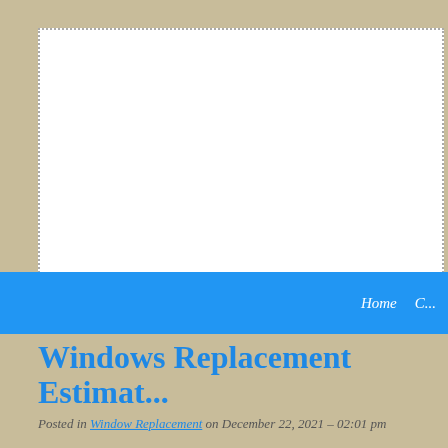[Figure (other): Advertisement banner area with dotted border on tan/beige background]
Home  C...
Windows Replacement Estimat...
Posted in Window Replacement on December 22, 2021 – 02:01 pm
Cost to Install or Replace Vinyl Windows
How much does it cost to install or replace...
Vinyl windows (or PVC) are usually exterior facing and so must prov...